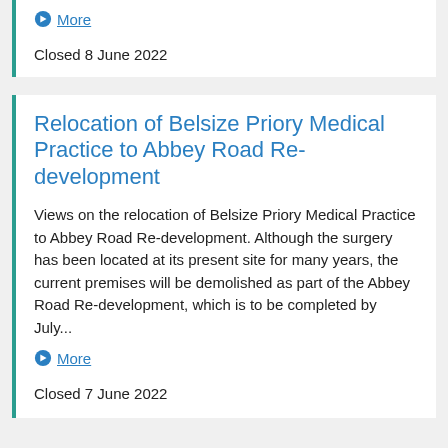More
Closed 8 June 2022
Relocation of Belsize Priory Medical Practice to Abbey Road Re-development
Views on the relocation of Belsize Priory Medical Practice to Abbey Road Re-development. Although the surgery has been located at its present site for many years, the current premises will be demolished as part of the Abbey Road Re-development, which is to be completed by July...
More
Closed 7 June 2022